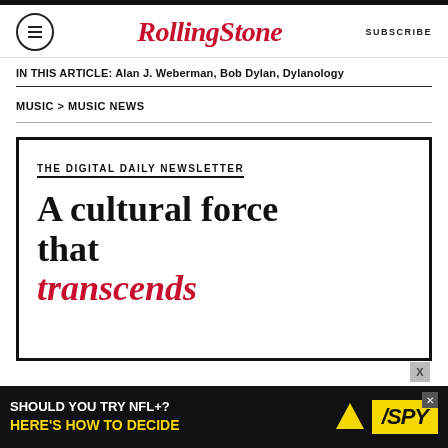RollingStone — SUBSCRIBE
IN THIS ARTICLE: Alan J. Weberman, Bob Dylan, Dylanology
MUSIC > MUSIC NEWS
[Figure (infographic): Rolling Stone newsletter signup box with headline: 'THE DIGITAL DAILY NEWSLETTER — A cultural force that transcends' in bold serif font, with 'transcends' in red italic.]
[Figure (infographic): Advertisement banner: 'SHOULD YOU TRY NFL+? HERE'S HOW TO DECIDE' with SPY logo on yellow background.]